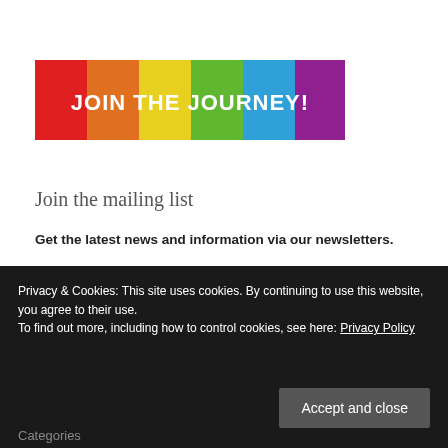[Figure (illustration): Rainbow striped banner with text JOIN THE JOURNEY! in white bold letters across 6 colored vertical stripes: red, orange, yellow, green, blue, purple]
Join the mailing list
Get the latest news and information via our newsletters.
Search the site
Privacy & Cookies: This site uses cookies. By continuing to use this website, you agree to their use.
To find out more, including how to control cookies, see here: Privacy Policy
Accept and close
Categories